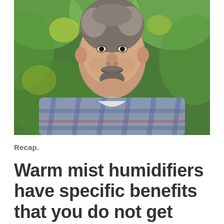[Figure (photo): Portrait photo of a middle-aged man with salt-and-pepper beard and mustache, wearing a blue/grey plaid flannel shirt over a white t-shirt, smiling slightly, with blurred green foliage in the background.]
Recap.
Warm mist humidifiers have specific benefits that you do not get with a cool mist